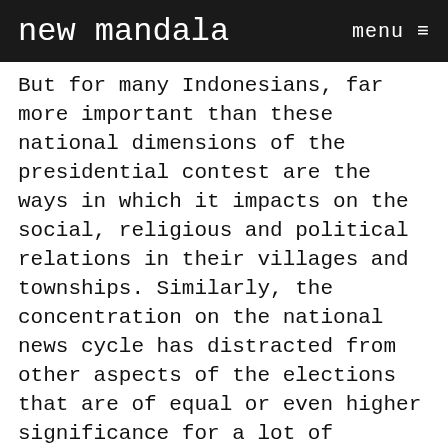new mandala   menu ≡
But for many Indonesians, far more important than these national dimensions of the presidential contest are the ways in which it impacts on the social, religious and political relations in their villages and townships. Similarly, the concentration on the national news cycle has distracted from other aspects of the elections that are of equal or even higher significance for a lot of citizens, especially those living in the periphery. Most crucial among them are the elections at the lowest legislative level, namely the ballots for the district parliament. That is the level at which many voters know candidates personally, and it is also the level at which most decisions affecting citizens' everyday lives are made.